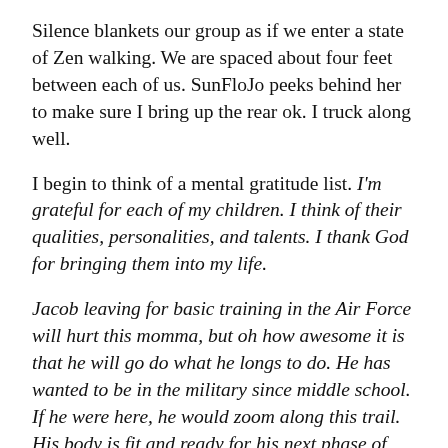Silence blankets our group as if we enter a state of Zen walking. We are spaced about four feet between each of us. SunFloJo peeks behind her to make sure I bring up the rear ok. I truck along well.
I begin to think of a mental gratitude list. I'm grateful for each of my children. I think of their qualities, personalities, and talents. I thank God for bringing them into my life.
Jacob leaving for basic training in the Air Force will hurt this momma, but oh how awesome it is that he will go do what he longs to do. He has wanted to be in the military since middle school. If he were here, he would zoom along this trail. His body is fit and ready for his next phase of life.
Ben is going to high school. Where has the time gone? I love his humor. I wish he were hiking with me. I miss him.